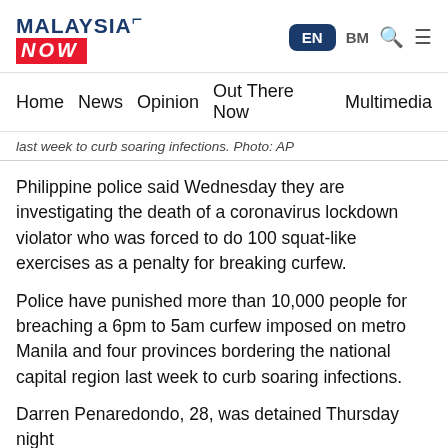MalaysiaNow EN BM
Home News Opinion Out There Now Multimedia
last week to curb soaring infections. Photo: AP
Philippine police said Wednesday they are investigating the death of a coronavirus lockdown violator who was forced to do 100 squat-like exercises as a penalty for breaking curfew.
Police have punished more than 10,000 people for breaching a 6pm to 5am curfew imposed on metro Manila and four provinces bordering the national capital region last week to curb soaring infections.
Darren Penaredondo, 28, was detained Thursday night